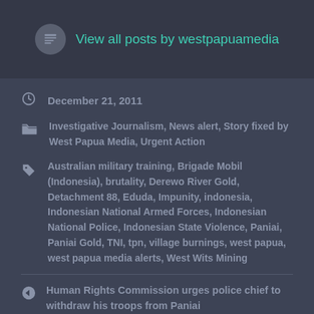View all posts by westpapuamedia
December 21, 2011
Investigative Journalism, News alert, Story fixed by West Papua Media, Urgent Action
Australian military training, Brigade Mobil (Indonesia), brutality, Derewo River Gold, Detachment 88, Eduda, Impunity, indonesia, Indonesian National Armed Forces, Indonesian National Police, Indonesian State Violence, Paniai, Paniai Gold, TNI, tpn, village burnings, west papua, west papua media alerts, West Wits Mining
Human Rights Commission urges police chief to withdraw his troops from Paniai
Update on military operations in Paniai and